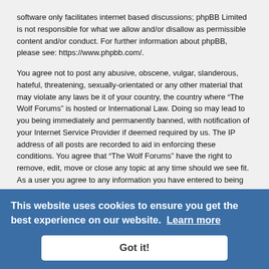software only facilitates internet based discussions; phpBB Limited is not responsible for what we allow and/or disallow as permissible content and/or conduct. For further information about phpBB, please see: https://www.phpbb.com/.
You agree not to post any abusive, obscene, vulgar, slanderous, hateful, threatening, sexually-orientated or any other material that may violate any laws be it of your country, the country where “The Wolf Forums” is hosted or International Law. Doing so may lead to you being immediately and permanently banned, with notification of your Internet Service Provider if deemed required by us. The IP address of all posts are recorded to aid in enforcing these conditions. You agree that “The Wolf Forums” have the right to remove, edit, move or close any topic at any time should we see fit. As a user you agree to any information you have entered to being stored in a database. While this information will not be disclosed to any third party without your consent, neither “The Wolf Forums” nor phpBB shall be held responsible for any hacking attempt that may lead to the data being compromised.
Board Index / Delete cookies / All times are UTC
Powered by phpBB® Forum Software © phpBB Limited
Style we_universal created by INVENTEA & v12adie
Privacy | Terms
This website uses cookies to ensure you get the best experience on our website. Learn more
Got it!